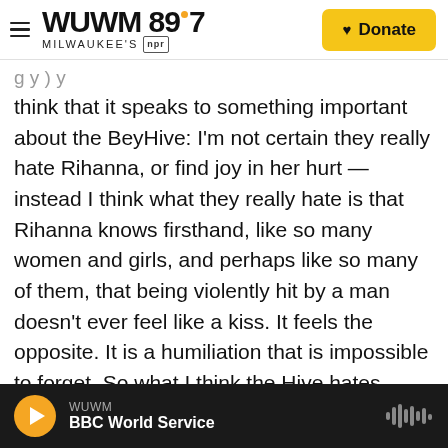WUWM 89.7 MILWAUKEE'S NPR | Donate
think that it speaks to something important about the BeyHive: I'm not certain they really hate Rihanna, or find joy in her hurt — instead I think what they really hate is that Rihanna knows firsthand, like so many women and girls, and perhaps like so many of them, that being violently hit by a man doesn't ever feel like a kiss. It feels the opposite. It is a humiliation that is impossible to forget. So what I think the Hive hates about Rihanna is that there is no fun, no fantasy in that kind of knowledge of womanhood, just a reflection of the real but all-too-often silent life they too must
WUWM | BBC World Service